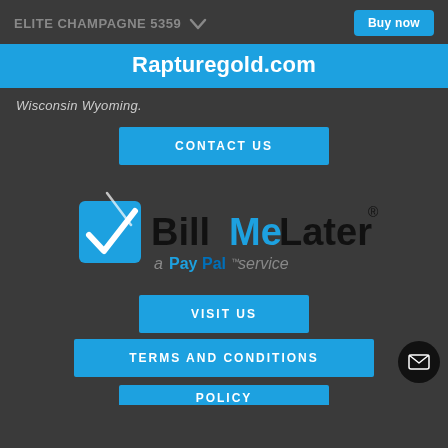ELITE CHAMPAGNE 5359
Buy now
Rapturegold.com
Wisconsin Wyoming.
CONTACT US
[Figure (logo): BillMeLater a PayPal service logo — blue checkbox with white checkmark, 'Bill' in black bold, 'Me' in blue bold, 'Later' in black bold with registered trademark symbol, subtitle 'a PayPal™ service' in blue/grey]
VISIT US
TERMS AND CONDITIONS
POLICY